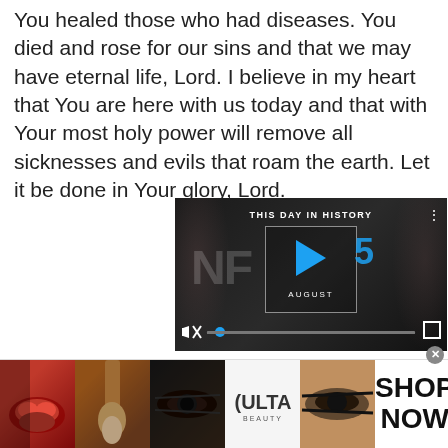You healed those who had diseases. You died and rose for our sins and that we may have eternal life, Lord. I believe in my heart that You are here with us today and that with Your most holy power will remove all sicknesses and evils that roam the earth. Let it be done in Your glory, Lord.
[Figure (screenshot): Video player thumbnail showing 'This Day In History' with NFL background imagery, a play button, the number 5, 'AUGUST' text, mute icon, progress bar with blue dot, and fullscreen button.]
[Figure (photo): Advertisement banner for Ulta Beauty showing four makeup-related images (lips with red lipstick, makeup brush, eye with eyeliner, Ulta logo, eye with dramatic makeup) and a 'SHOP NOW' call to action.]